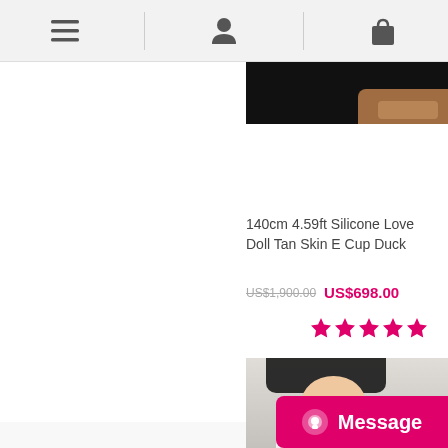Navigation bar with menu, profile, and cart icons
[Figure (photo): Cropped product photo showing dark background with partial skin/hand visible at bottom right]
140cm 4.59ft Silicone Love Doll Tan Skin E Cup Duck
US$1,900.00  US$698.00
[Figure (other): Five pink/hot-pink star rating icons]
[Figure (photo): Product photo of a doll with black bob-cut hair wearing a white sailor-style uniform with badge, red lips, dark eyes]
Message